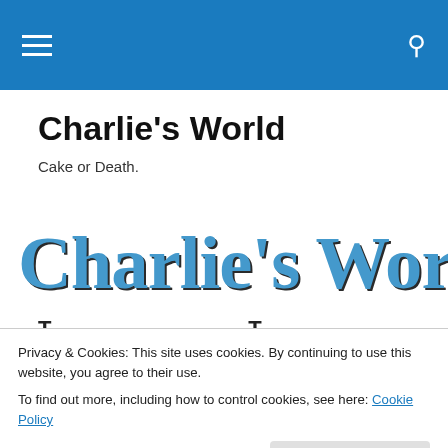Navigation bar with hamburger menu and search icon
Charlie's World
Cake or Death.
[Figure (logo): Charlie's World stylized logo text in blue with dark shadow, large comic/handwritten font style]
Privacy & Cookies: This site uses cookies. By continuing to use this website, you agree to their use. To find out more, including how to control cookies, see here: Cookie Policy
to see their mum of course – no matter how much fun